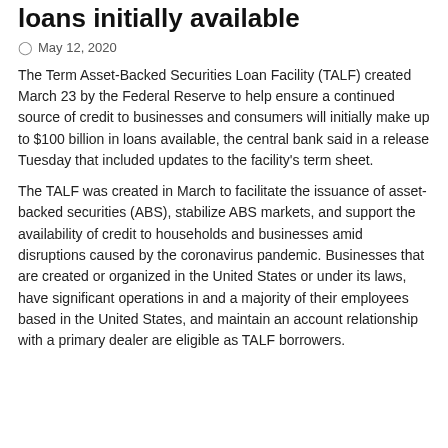loans initially available
May 12, 2020
The Term Asset-Backed Securities Loan Facility (TALF) created March 23 by the Federal Reserve to help ensure a continued source of credit to businesses and consumers will initially make up to $100 billion in loans available, the central bank said in a release Tuesday that included updates to the facility's term sheet.
The TALF was created in March to facilitate the issuance of asset-backed securities (ABS), stabilize ABS markets, and support the availability of credit to households and businesses amid disruptions caused by the coronavirus pandemic. Businesses that are created or organized in the United States or under its laws, have significant operations in and a majority of their employees based in the United States, and maintain an account relationship with a primary dealer are eligible as TALF borrowers.